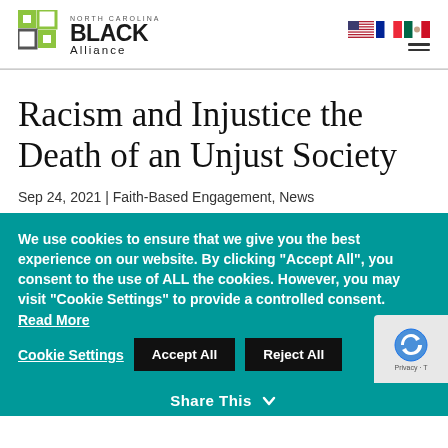North Carolina Black Alliance
Racism and Injustice the Death of an Unjust Society
Sep 24, 2021 | Faith-Based Engagement, News
We use cookies to ensure that we give you the best experience on our website. By clicking “Accept All”, you consent to the use of ALL the cookies. However, you may visit "Cookie Settings" to provide a controlled consent. Read More
Cookie Settings | Accept All | Reject All
Share This